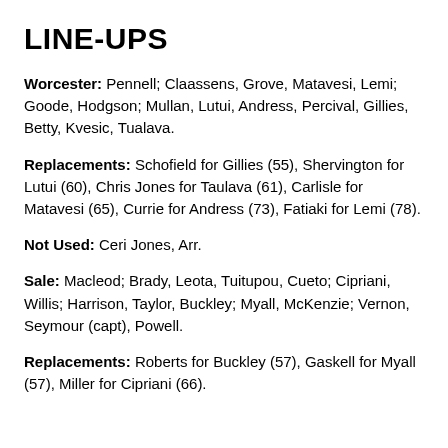LINE-UPS
Worcester: Pennell; Claassens, Grove, Matavesi, Lemi; Goode, Hodgson; Mullan, Lutui, Andress, Percival, Gillies, Betty, Kvesic, Tualava.
Replacements: Schofield for Gillies (55), Shervington for Lutui (60), Chris Jones for Taulava (61), Carlisle for Matavesi (65), Currie for Andress (73), Fatiaki for Lemi (78).
Not Used: Ceri Jones, Arr.
Sale: Macleod; Brady, Leota, Tuitupou, Cueto; Cipriani, Willis; Harrison, Taylor, Buckley; Myall, McKenzie; Vernon, Seymour (capt), Powell.
Replacements: Roberts for Buckley (57), Gaskell for Myall (57), Miller for Cipriani (66).